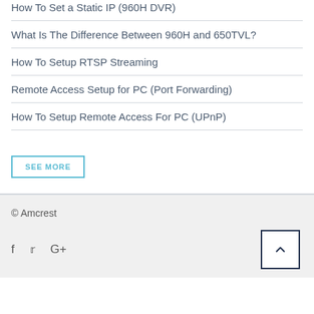How To Set a Static IP (960H DVR)
What Is The Difference Between 960H and 650TVL?
How To Setup RTSP Streaming
Remote Access Setup for PC (Port Forwarding)
How To Setup Remote Access For PC (UPnP)
SEE MORE
© Amcrest